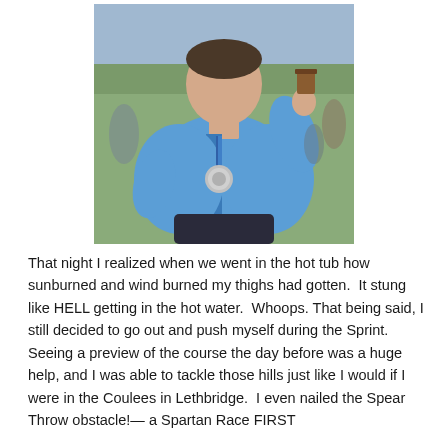[Figure (photo): A person wearing a blue zip-up hoodie and a race medal around their neck, holding up a cup, standing outdoors on grass with other people visible in the background.]
That night I realized when we went in the hot tub how sunburned and wind burned my thighs had gotten.  It stung like HELL getting in the hot water.  Whoops. That being said, I still decided to go out and push myself during the Sprint.  Seeing a preview of the course the day before was a huge help, and I was able to tackle those hills just like I would if I were in the Coulees in Lethbridge.  I even nailed the Spear Throw obstacle!— a Spartan Race FIRST